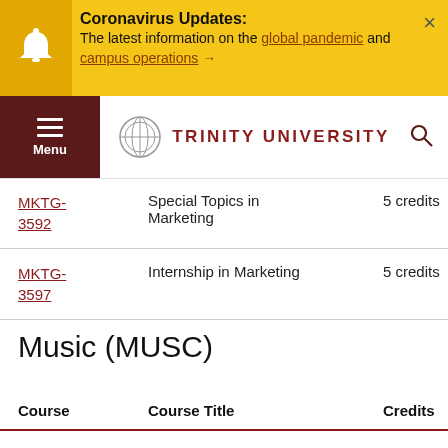Coronavirus Updates: The latest information on the global pandemic and campus operations →
[Figure (logo): Trinity University logo with circular emblem and text TRINITY UNIVERSITY in dark red]
| Course | Course Title | Credits |
| --- | --- | --- |
| MKTG-3592 | Special Topics in Marketing | 5 credits |
| MKTG-3597 | Internship in Marketing | 5 credits |
Music (MUSC)
| Course | Course Title | Credits |
| --- | --- | --- |